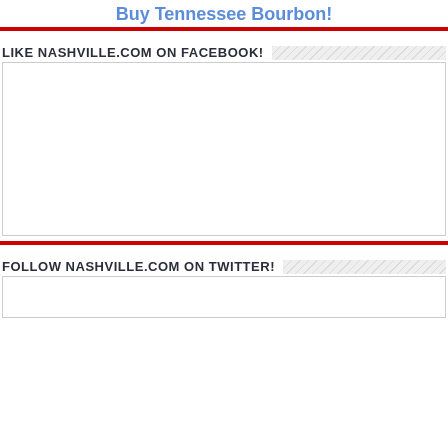Buy Tennessee Bourbon!
LIKE NASHVILLE.COM ON FACEBOOK!
[Figure (other): Facebook like widget embed area — white empty box with border]
FOLLOW NASHVILLE.COM ON TWITTER!
[Figure (other): Twitter follow widget embed area — white empty box with border]